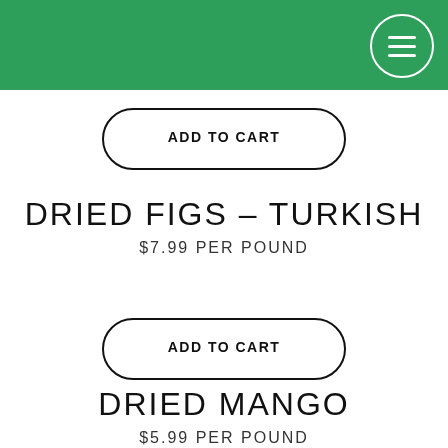ADD TO CART
DRIED FIGS – TURKISH
$7.99 PER POUND
ADD TO CART
DRIED MANGO
$5.99 PER POUND